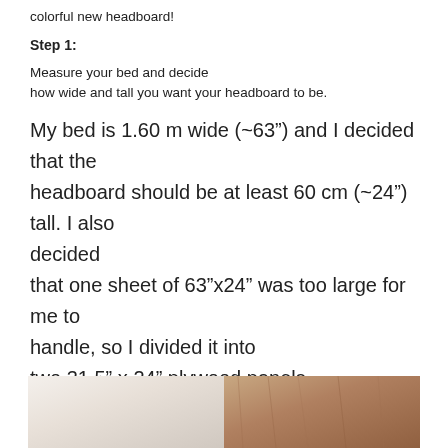colorful new headboard!
Step 1:
Measure your bed and decide how wide and tall you want your headboard to be.
My bed is 1.60 m wide (~63”) and I decided that the headboard should be at least 60 cm (~24”) tall. I also decided that one sheet of 63”x24” was too large for me to handle, so I divided it into two 31.5” x 24” plywood panels.
[Figure (photo): Photo of plywood panels, showing white and wood-colored surfaces]